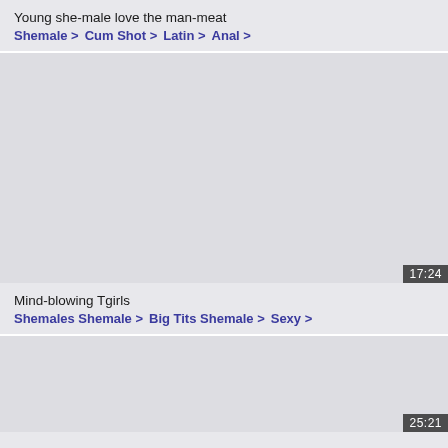Young she-male love the man-meat
Shemale >   Cum Shot >   Latin >   Anal >
[Figure (photo): Video thumbnail placeholder, light gray, with duration badge 17:24 in bottom right corner]
Mind-blowing Tgirls
Shemales Shemale >   Big Tits Shemale >   Sexy >
[Figure (photo): Video thumbnail placeholder, light gray, with duration badge 25:21 in bottom right corner]